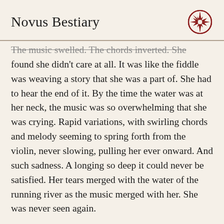Novus Bestiary
The music swelled. The chords inverted. She found she didn't care at all. It was like the fiddle was weaving a story that she was a part of. She had to hear the end of it. By the time the water was at her neck, the music was so overwhelming that she was crying. Rapid variations, with swirling chords and melody seeming to spring forth from the violin, never slowing, pulling her ever onward. And such sadness. A longing so deep it could never be satisfied. Her tears merged with the water of the running river as the music merged with her. She was never seen again.
What was that shape, that appeared behind the fresh lilies of the running river? That lingered near the old mill? That played the fiddle so